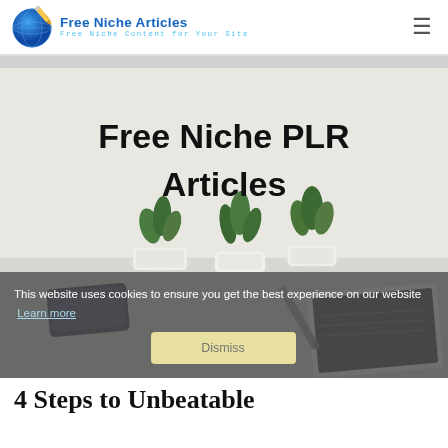Free Niche Articles — Free Niche Content for Your Site
[Figure (photo): Hero banner image showing potted succulents, a notebook, a pen, and a smartphone on a light gray desk surface. Bold text overlay reads 'Free Niche PLR Articles'. A cookie consent banner overlays the bottom portion.]
This website uses cookies to ensure you get the best experience on our website  Learn more
4 Steps to Unbeatable